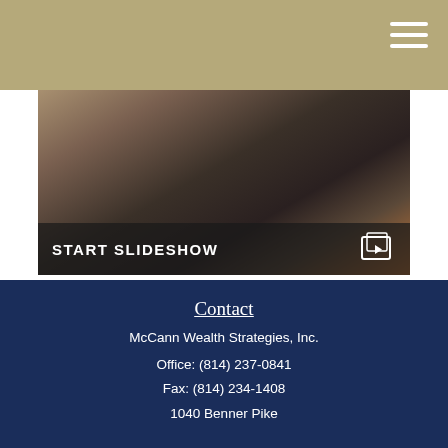[Figure (photo): Photo of a tablet/laptop device on a couch, showing a dark screen, with a START SLIDESHOW overlay bar at the bottom of the image]
An Inside Look at Retirement Living
A number of questions and concerns need to be addressed to help you better prepare for retirement living.
Contact
McCann Wealth Strategies, Inc.
Office: (814) 237-0841
Fax: (814) 234-1408
1040 Benner Pike